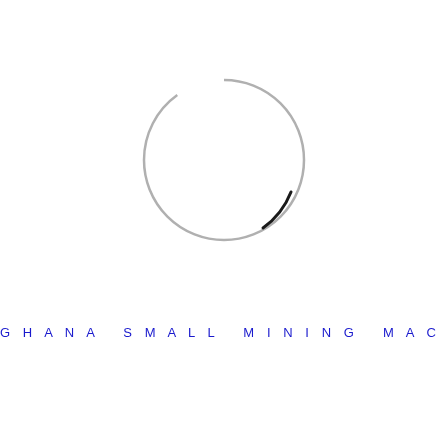[Figure (logo): Circle logo with a gray ring and a black arc segment on the right side, forming a nearly complete circle with a break at the lower right.]
GHANA SMALL MINING MACHINE